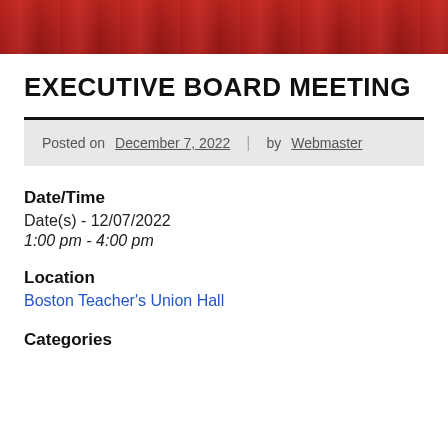[Figure (photo): Banner photo showing crowd of people wearing red shirts at a union rally or protest]
EXECUTIVE BOARD MEETING
Posted on December 7, 2022 | by Webmaster
Date/Time
Date(s) - 12/07/2022
1:00 pm - 4:00 pm
Location
Boston Teacher's Union Hall
Categories